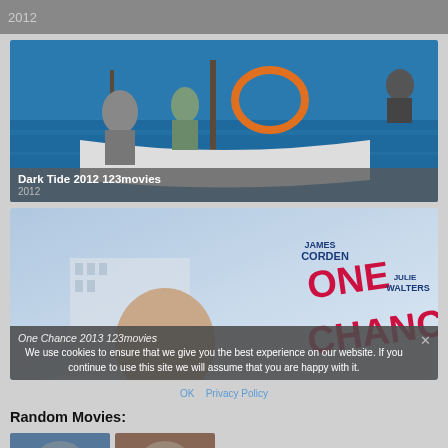2012
[Figure (photo): Movie thumbnail for Dark Tide 2012 - people on a boat with blue ocean water in background]
Dark Tide 2012 123movies
2012
[Figure (photo): Movie poster for One Chance 2013 featuring James Corden and Julie Walters - large red text ONE CHANCE on blue/white background]
One Chance 2013 123movies
We use cookies to ensure that we give you the best experience on our website. If you continue to use this site we will assume that you are happy with it.
OK   Privacy Policy
Random Movies: